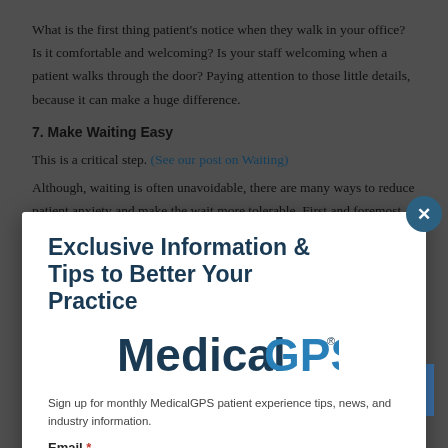What is the first thing patient's notice when they walk in your office? Is it comfortable and welcoming? Is your staff welcoming when a patient walks through the door? Paying attention to those little details, because it can make a huge difference.
7. Make Waiting Easy
This is a critical step. (See our post on Waiting)
Although, waiting is often unavoidable, there are many ways to reduce patient anxiety and make the wait more tolerable. First and foremost, communication and honesty are essential if the physician is running behind. See our staff communicates wait times with patients and updates them at minimum every 10-15 minutes. It is also important that they ask patients can wait and not just assume.
Exclusive Information & Tips to Better Your Practice
[Figure (logo): MedicalGPS logo - text reads MedicalGPS with registered trademark symbol]
Sign up for monthly MedicalGPS patient experience tips, news, and industry information.
Email *